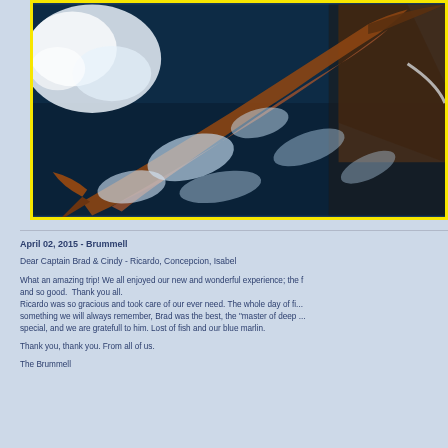[Figure (photo): Close-up photo of a blue marlin jumping near the side of a boat, with white water splashes and dark blue ocean water. The fish's body is brown/copper colored. Photo has a yellow border.]
April 02, 2015 - Brummell
Dear Captain Brad & Cindy - Ricardo, Concepcion, Isabel

What an amazing trip! We all enjoyed our new and wonderful experience; the f... and so good. Thank you all.
Ricardo was so gracious and took care of our ever need. The whole day of fi... something we will always remember, Brad was the best, the "master of deep ... special, and we are gratefull to him. Lost of fish and our blue marlin.

Thank you, thank you. From all of us.

The Brummell